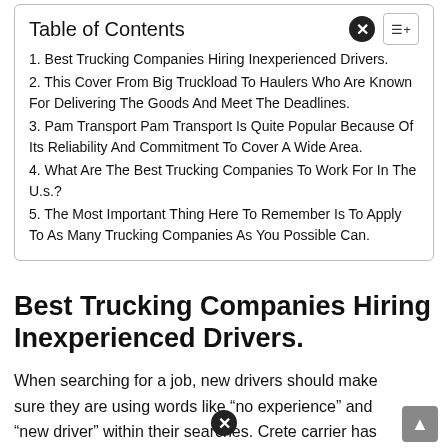Table of Contents
1. Best Trucking Companies Hiring Inexperienced Drivers.
2. This Cover From Big Truckload To Haulers Who Are Known For Delivering The Goods And Meet The Deadlines.
3. Pam Transport Pam Transport Is Quite Popular Because Of Its Reliability And Commitment To Cover A Wide Area.
4. What Are The Best Trucking Companies To Work For In The U.s.?
5. The Most Important Thing Here To Remember Is To Apply To As Many Trucking Companies As You Possible Can.
Best Trucking Companies Hiring Inexperienced Drivers.
When searching for a job, new drivers should make sure they are using words like “no experience” and “new driver” within their searches. Crete carrier has grown to be one of the largest privately held trucking company. Here are some of the trucking companies with schools, we would recommend checking out.